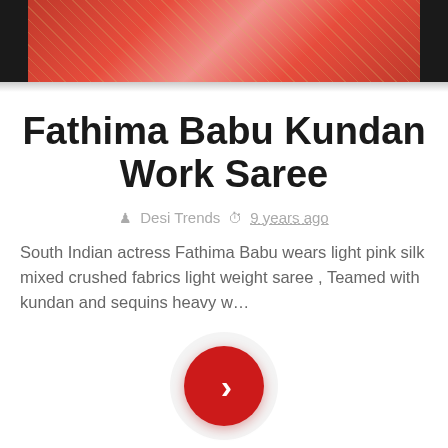[Figure (photo): Photo strip showing red/pink saree garments with dark background panels on left and right]
Fathima Babu Kundan Work Saree
♟ Desi Trends  🕐 9 years ago
South Indian actress Fathima Babu wears light pink silk mixed crushed fabrics light weight saree , Teamed with kundan and sequins heavy w...
[Figure (other): Red circular next/forward navigation button with white chevron arrow]